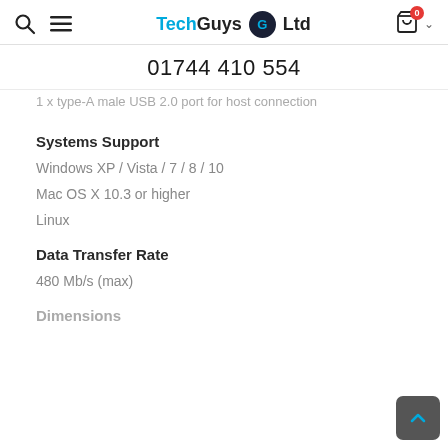Tech Guys Ltd — 01744 410 554
1 x type-A male USB 2.0 port for host connection
Systems Support
Windows XP / Vista / 7 / 8 / 10
Mac OS X 10.3 or higher
Linux
Data Transfer Rate
480 Mb/s (max)
Dimensions